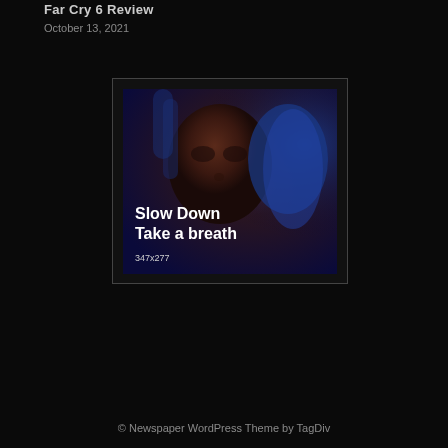Far Cry 6 Review
October 13, 2021
[Figure (photo): Close-up portrait of a young woman with blue-lit hair against a dark blue background. Overlaid text reads 'Slow Down Take a breath' and '347x277' in white.]
© Newspaper WordPress Theme by TagDiv